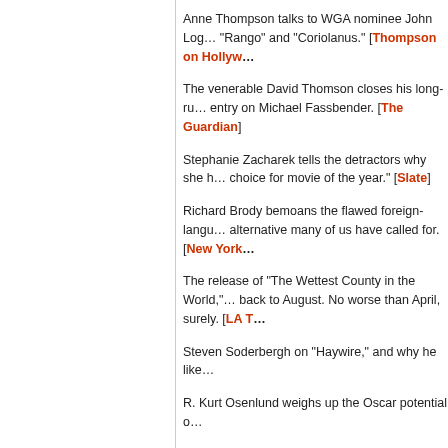Anne Thompson talks to WGA nominee John Log... "Rango" and "Coriolanus." [Thompson on Hollyw...]
The venerable David Thomson closes his long-ru... entry on Michael Fassbender. [The Guardian]
Stephanie Zacharek tells the detractors why she h... choice for movie of the year." [Slate]
Richard Brody bemoans the flawed foreign-langu... alternative many of us have called for. [New York]
The release of "The Wettest County in the World,"... back to August. No worse than April, surely. [LA T...]
Steven Soderbergh on "Haywire," and why he like...
R. Kurt Osenlund weighs up the Oscar potential o...
Marc Lee on the sort-of-campaign that just won't ... Telegraph]
Elton John, the man who stands to make "Gnome... Bond about his film work. [The Odds]